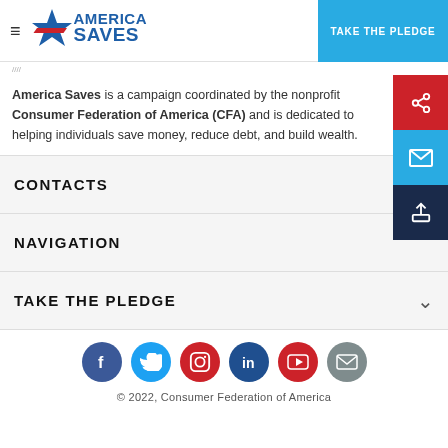[Figure (logo): America Saves logo with red star and blue text, plus Take the Pledge button]
America Saves is a campaign coordinated by the nonprofit Consumer Federation of America (CFA) and is dedicated to helping individuals save money, reduce debt, and build wealth.
CONTACTS
NAVIGATION
TAKE THE PLEDGE
[Figure (illustration): Social media icons: Facebook, Twitter, Instagram, LinkedIn, YouTube, Email]
© 2022, Consumer Federation of America